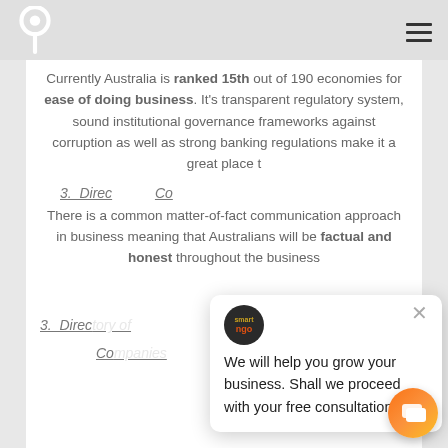Smart NGO logo and navigation menu
Currently Australia is ranked 15th out of 190 economies for ease of doing business. It's transparent regulatory system, sound institutional governance frameworks against corruption as well as strong banking regulations make it a [great] place t[o do business].
3. Direct[ory of] Co[mpanies]
There is a common matter-of-fact communication approach in business meaning that Australians will be factual and honest throughout the business
[Figure (other): Smart NGO chat popup with message: We will help you grow your business. Shall we proceed with your free consultation? With close button and logo.]